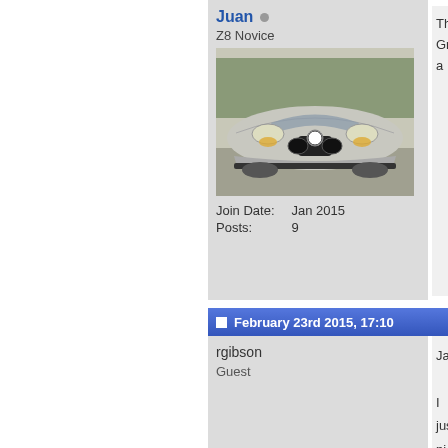Juan (offline)
Z8 Novice
[Figure (photo): Front view of a silver BMW Z8 sports car, front grille and headlights visible, parked outdoors]
Join Date: Jan 2015
Posts: 9
Thanks
Great a
February 23rd 2015, 17:10
rgibson
Guest
Jaun,

I just pi
part nu

http://w

Rory.